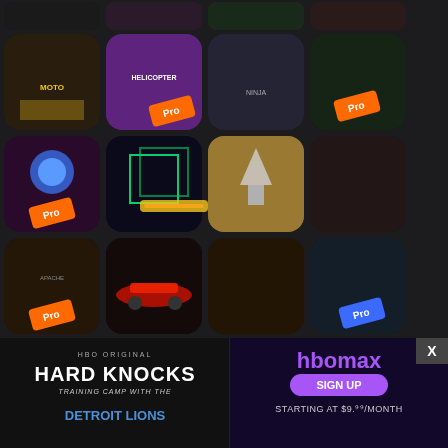[Figure (screenshot): Grid of mobile game app icons showing action/shooter/racing games, some with 'Pro' badges. Partially obscured at bottom by an HBO/HBOmax advertisement banner with close button.]
[Figure (advertisement): HBO Original Hard Knocks Detroit Lions advertisement alongside HBOmax Sign Up starting at $9.99/month promotional banner with close X button]